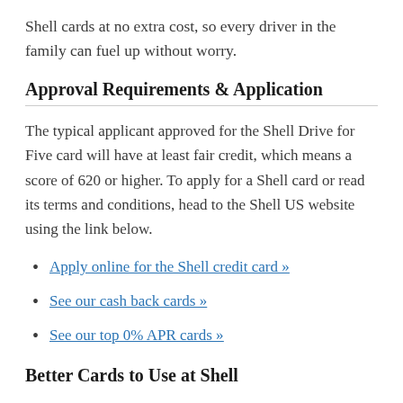Shell cards at no extra cost, so every driver in the family can fuel up without worry.
Approval Requirements & Application
The typical applicant approved for the Shell Drive for Five card will have at least fair credit, which means a score of 620 or higher. To apply for a Shell card or read its terms and conditions, head to the Shell US website using the link below.
Apply online for the Shell credit card »
See our cash back cards »
See our top 0% APR cards »
Better Cards to Use at Shell